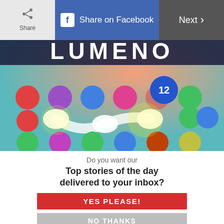[Figure (screenshot): Top navigation bar with Share button on left (grey), Share on Facebook button in center (blue with Facebook icon), and Next button on right (dark grey)]
[Figure (screenshot): Game screenshot of Lumeno app showing colorful circles/dots (red, blue, green, pink, orange, purple) on teal background with a glowing white connecting shape and the number 12 in a blue flower badge]
Do you want our
Top stories of the day delivered to your inbox?
[Figure (other): Red button labeled YES PLEASE!]
[Figure (other): Grey button labeled NO THANKS]